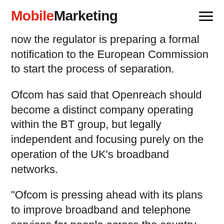MobileMarketing
now the regulator is preparing a formal notification to the European Commission to start the process of separation.
Ofcom has said that Openreach should become a distinct company operating within the BT group, but legally independent and focusing purely on the operation of the UK's broadband networks.
"Ofcom is pressing ahead with its plans to improve broadband and telephone services for people across the country, pursuing better service quality and encouraging greater investment in networks," said an Ofcom spokesperson in the regulator's